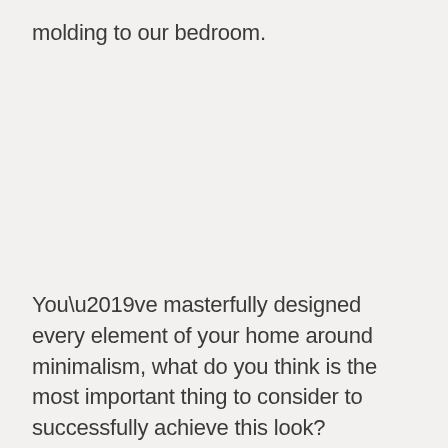molding to our bedroom.
You’ve masterfully designed every element of your home around minimalism, what do you think is the most important thing to consider to successfully achieve this look?